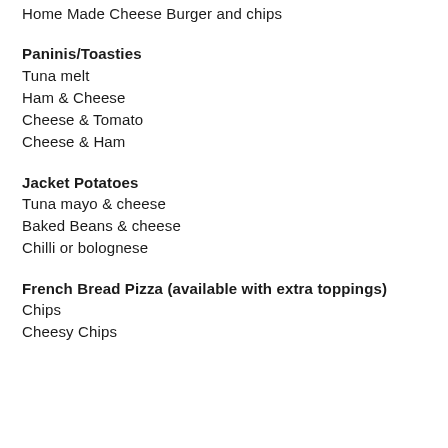Home Made Cheese Burger and chips
Paninis/Toasties
Tuna melt
Ham & Cheese
Cheese & Tomato
Cheese & Ham
Jacket Potatoes
Tuna mayo & cheese
Baked Beans & cheese
Chilli or bolognese
French Bread Pizza (available with extra toppings)
Chips
Cheesy Chips